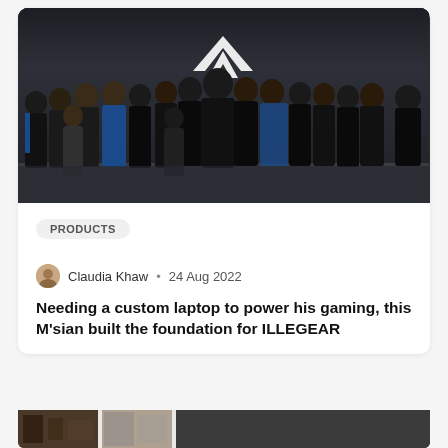[Figure (photo): Group photo of approximately 25-30 people in black ILLEGEAR branded t-shirts standing in front of a dark wall with the ILLEGEAR logo (stylized V/arrow shape). One person in the center wears a blue jacket. The setting appears to be an office or showroom.]
PRODUCTS
Claudia Khaw • 24 Aug 2022
Needing a custom laptop to power his gaming, this M'sian built the foundation for ILLEGEAR
[Figure (photo): Partially visible thumbnail images at the bottom of the page, showing a preview of another article or content section.]